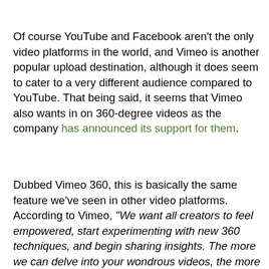Of course YouTube and Facebook aren't the only video platforms in the world, and Vimeo is another popular upload destination, although it does seem to cater to a very different audience compared to YouTube. That being said, it seems that Vimeo also wants in on 360-degree videos as the company has announced its support for them.
Dubbed Vimeo 360, this is basically the same feature we've seen in other video platforms. According to Vimeo, "We want all creators to feel empowered, start experimenting with new 360 techniques, and begin sharing insights. The more we can delve into your wondrous videos, the more we can all find inspiration, and usher in the new standard for incredible